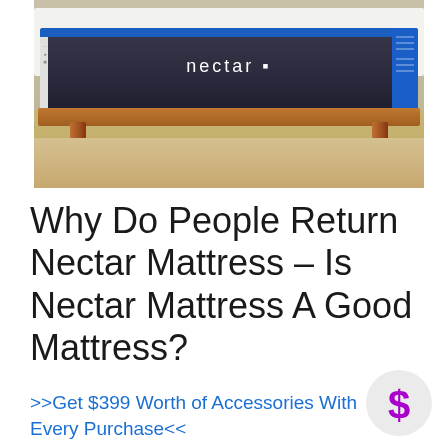[Figure (photo): Photo of a Nectar branded mattress on a wooden mid-century style bed frame with wooden legs, on a light wood floor. The mattress has a dark gray body with a blue top stripe and blue right side panel, with the 'nectar' logo in white text in the center.]
Why Do People Return Nectar Mattress – Is Nectar Mattress A Good Mattress?
>>Get $399 Worth of Accessories With Every Purchase<<